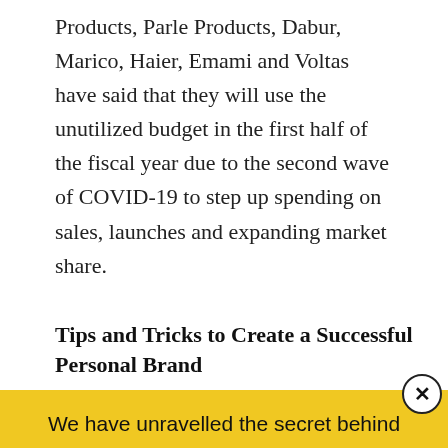Products, Parle Products, Dabur, Marico, Haier, Emami and Voltas have said that they will use the unutilized budget in the first half of the fiscal year due to the second wave of COVID-19 to step up spending on sales, launches and expanding market share.
Tips and Tricks to Create a Successful Personal Brand
We have unravelled the secret behind pathbreaking content. We are giving away a well-researched comprehensive ebook for free! No sign up or email required! Download